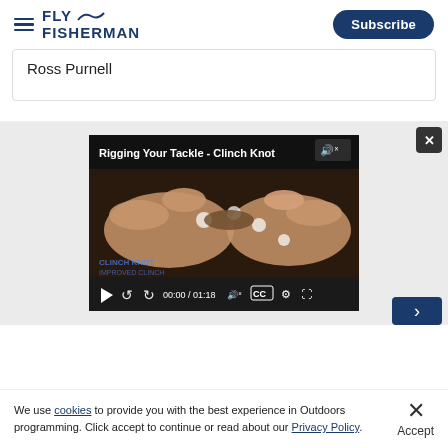Fly Fisherman — Subscribe
Ross Purnell
[Figure (screenshot): Video player showing 'Rigging Your Tackle - Clinch Knot' with hands tying a fly fishing knot. Duration 00:00 / 01:18. Controls visible at bottom.]
We use cookies to provide you with the best experience in Outdoors programming. Click accept to continue or read about our Privacy Policy.